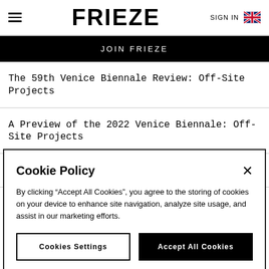FRIEZE  SIGN IN
JOIN FRIEZE
The 59th Venice Biennale Review: Off-Site Projects
A Preview of the 2022 Venice Biennale: Off-Site Projects
Five Artists on Second Chances
Cookie Policy
By clicking “Accept All Cookies”, you agree to the storing of cookies on your device to enhance site navigation, analyze site usage, and assist in our marketing efforts.
Cookies Settings  Accept All Cookies